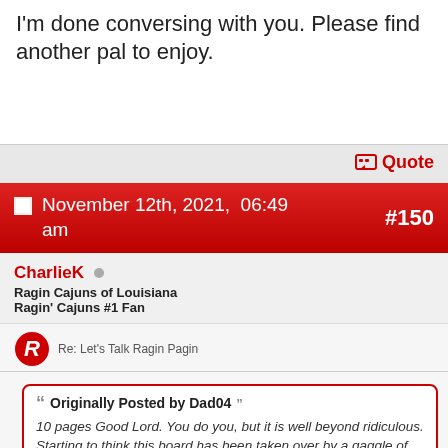I'm done conversing with you. Please find another pal to enjoy.
Quote
November 12th, 2021,  06:49 am  #150
CharlieK
Ragin Cajuns of Louisiana
Ragin' Cajuns #1 Fan
Re: Let's Talk Ragin Pagin
Originally Posted by Dad04
10 pages Good Lord. You do you, but it is well beyond ridiculous. Starting to think this board has been taken over by a gaggle of 13 year old girls.